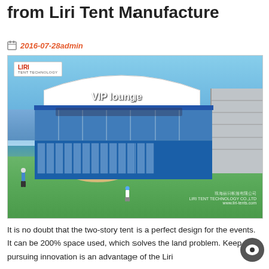from Liri Tent Manufacture
2016-07-28admin
[Figure (photo): A two-story VIP lounge tent structure by Liri Tent Technology, set on a golf course with a blue building base, glass walls, and a white curved roof. People visible on upper deck. Liri Tent Technology Co., Ltd watermark and logo visible. www.liri-tents.com]
It is no doubt that the two-story tent is a perfect design for the events. It can be 200% space used, which solves the land problem. Keep pursuing innovation is an advantage of the Liri